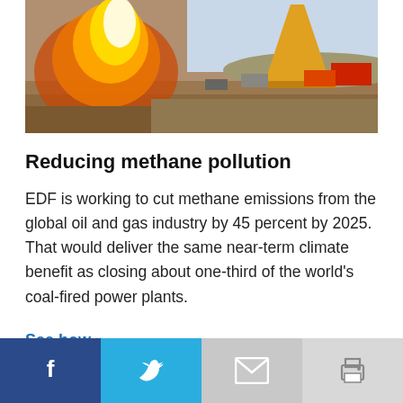[Figure (photo): Oil and gas drilling site with a large flame/flaring fire on the left side and drilling rig equipment visible on the right side against a flat landscape.]
Reducing methane pollution
EDF is working to cut methane emissions from the global oil and gas industry by 45 percent by 2025. That would deliver the same near-term climate benefit as closing about one-third of the world's coal-fired power plants.
See how »